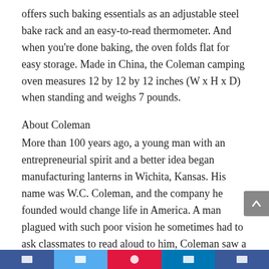offers such baking essentials as an adjustable steel bake rack and an easy-to-read thermometer. And when you're done baking, the oven folds flat for easy storage. Made in China, the Coleman camping oven measures 12 by 12 by 12 inches (W x H x D) when standing and weighs 7 pounds.
About Coleman
More than 100 years ago, a young man with an entrepreneurial spirit and a better idea began manufacturing lanterns in Wichita, Kansas. His name was W.C. Coleman, and the company he founded would change life in America. A man plagued with such poor vision he sometimes had to ask classmates to read aloud to him, Coleman saw a brilliant light in 1900 in a drugstore window that stopped him in his tracks. He inquired about the light inside and discovered he was able to read even the small print on a medicine bottle by the
[Figure (other): Social media share buttons bar at bottom: Facebook (dark blue), Twitter (light blue), Pinterest (red), LinkedIn (dark blue), another (dark blue)]